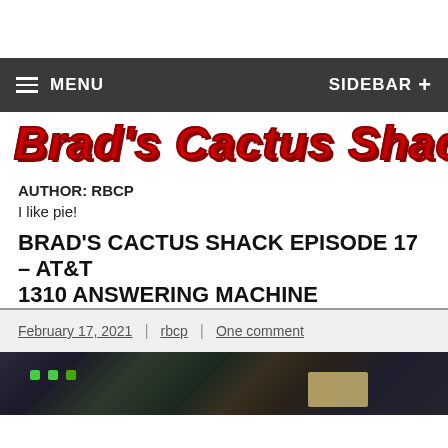MENU | SIDEBAR +
Brad's Cactus Shack
AUTHOR: RBCP
I like pie!
BRAD'S CACTUS SHACK EPISODE 17 – AT&T 1310 ANSWERING MACHINE
February 17, 2021 | rbcp | One comment
[Figure (photo): Photo of AT&T 1310 answering machine device, dark background with green indicator lights visible]